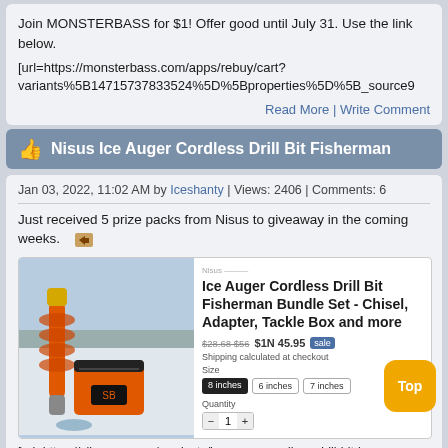Join MONSTERBASS for $1! Offer good until July 31. Use the link below.
[url=https://monsterbass.com/apps/rebuy/cart?variants%5B14715737833524%5D%5Bproperties%5D%5B_source9
Read More | Write Comment
Nisus Ice Auger Cordless Drill Bit Fisherman
Jan 03, 2022, 11:02 AM by Iceshanty | Views: 2406 | Comments: 6
Just received 5 prize packs from Nisus to giveaway in the coming weeks.
[Figure (photo): Product listing image showing Ice Auger Cordless Drill Bit Fisherman Bundle Set with photo of orange ice auger and fishing tackle box on snow, alongside product title, price and options]
[url=https://sibereon.com/products/ice-auger-cordless-drill-bit-ice-